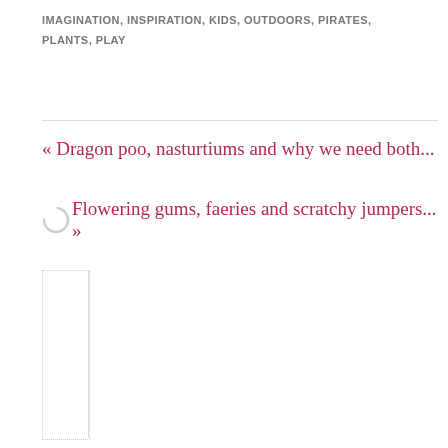IMAGINATION, INSPIRATION, KIDS, OUTDOORS, PIRATES, PLANTS, PLAY
« Dragon poo, nasturtiums and why we need both...
Flowering gums, faeries and scratchy jumpers... »
[Figure (other): Sidebar box with dotted border and vertical divider line]